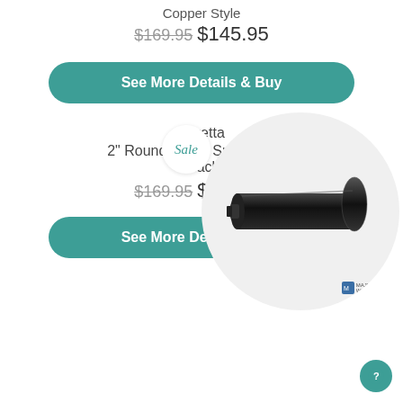Copper Style
$169.95 $145.95
See More Details & Buy
[Figure (photo): Black exhaust tip / round water spout product photo on white circular background with Sale badge]
Beretta
2" Round Water Spout - Satin Black
$169.95 $145.95
See More Details & Buy